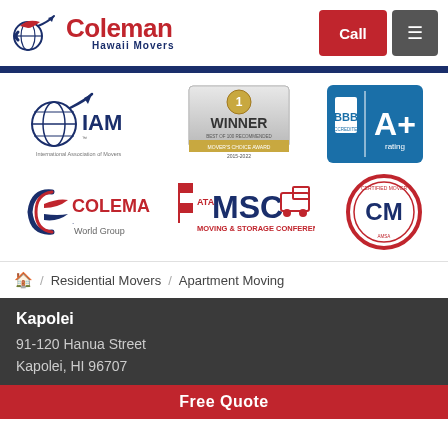[Figure (logo): Coleman Hawaii Movers logo with eagle/globe icon, red 'Coleman' text and blue 'Hawaii Movers' subtitle]
[Figure (logo): Red Call button and hamburger menu button in header]
[Figure (logo): IAM International Association of Movers logo]
[Figure (logo): Winner Best of 100 Recommended Movers Choice Award 2015-2022 badge]
[Figure (logo): BBB Accredited Business A+ Rating logo]
[Figure (logo): Coleman World Group logo]
[Figure (logo): ATA MSC Moving & Storage Conference logo]
[Figure (logo): CM circular red badge logo]
🏠 / Residential Movers / Apartment Moving
Kapolei
91-120 Hanua Street
Kapolei, HI 96707
Free Quote